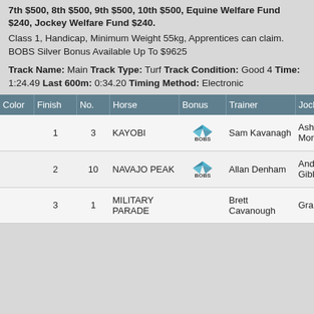$1,200, 5th $750, 6th $550, 7th $500, 8th $500, 9th $500, 10th $500, Equine Welfare Fund $240, Jockey Welfare Fund $240. Class 1, Handicap, Minimum Weight 55kg, Apprentices can claim. BOBS Silver Bonus Available Up To $9625
Track Name: Main Track Type: Turf Track Condition: Good 4 Time: 1:24.49 Last 600m: 0:34.20 Timing Method: Electronic
| Color | Finish | No. | Horse | Bonus | Trainer | Jockey |
| --- | --- | --- | --- | --- | --- | --- |
|  | 1 | 3 | KAYOBI | BOBS | Sam Kavanagh | Ashley Morgan |
|  | 2 | 10 | NAVAJO PEAK | BOBS | Allan Denham | Andrew Gibbon |
|  | 3 | 1 | MILITARY PARADE |  | Brett Cavanough | Grant Buckle |